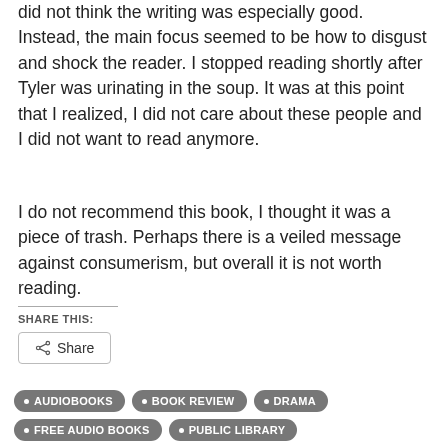did not think the writing was especially good. Instead, the main focus seemed to be how to disgust and shock the reader. I stopped reading shortly after Tyler was urinating in the soup. It was at this point that I realized, I did not care about these people and I did not want to read anymore.
I do not recommend this book, I thought it was a piece of trash. Perhaps there is a veiled message against consumerism, but overall it is not worth reading.
SHARE THIS:
Share
AUDIOBOOKS
BOOK REVIEW
DRAMA
FREE AUDIO BOOKS
PUBLIC LIBRARY